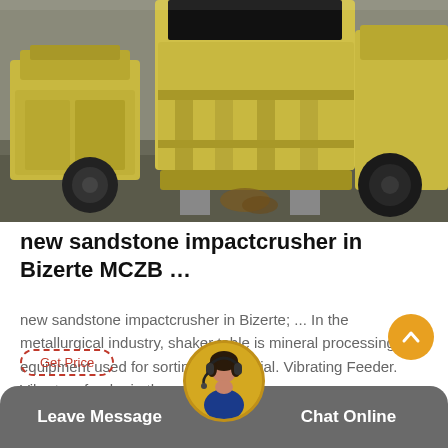[Figure (photo): Industrial yellow impact crushers / mining equipment on a factory floor with dark concrete ground and steel structure background]
new sandstone impactcrusher in Bizerte MCZB …
new sandstone impactcrusher in Bizerte; ... In the metallurgical industry, shaker table is mineral processing equipment used for sortingfinematerial. Vibrating Feeder. Vibratory feeder in th
Leave Message   Chat Online